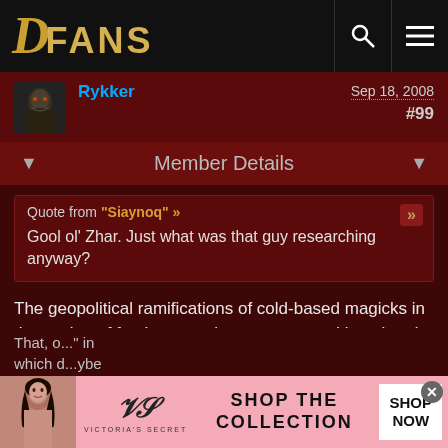DFANS
Rykker   Sep 18, 2008   #99
Member Details
Quote from "Siaynoq" »
Gool ol' Zhar. Just what was that guy researching anyway?
The geopolitical ramifications of cold-based magicks in the easing of fresh-water shortages caused by tainted wells in back-water, demon-infested towns.
That's why he was lobbing fireballs at you; to throw you off the scent -- he wanted all the credit.
[Figure (infographic): Victoria's Secret advertisement banner with model photo, VS logo, 'SHOP THE COLLECTION' text, and 'SHOP NOW' button]
That, o..." in which d...ybe